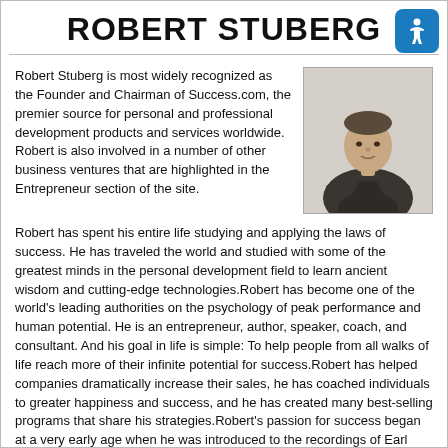ROBERT STUBERG
Robert Stuberg is most widely recognized as the Founder and Chairman of Success.com, the premier source for personal and professional development products and services worldwide. Robert is also involved in a number of other business ventures that are highlighted in the Entrepreneur section of the site.
[Figure (photo): Portrait photo of Robert Stuberg, a man in a dark jacket posed with arms folded, against a light background.]
Robert has spent his entire life studying and applying the laws of success. He has traveled the world and studied with some of the greatest minds in the personal development field to learn ancient wisdom and cutting-edge technologies.Robert has become one of the world's leading authorities on the psychology of peak performance and human potential. He is an entrepreneur, author, speaker, coach, and consultant. And his goal in life is simple: To help people from all walks of life reach more of their infinite potential for success.Robert has helped companies dramatically increase their sales, he has coached individuals to greater happiness and success, and he has created many best-selling programs that share his strategies.Robert's passion for success began at a very early age when he was introduced to the recordings of Earl Nightingale.